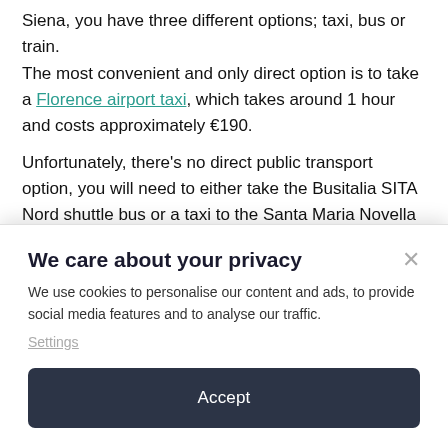Siena, you have three different options; taxi, bus or train.
The most convenient and only direct option is to take a Florence airport taxi, which takes around 1 hour and costs approximately €190.
Unfortunately, there's no direct public transport option, you will need to either take the Busitalia SITA Nord shuttle bus or a taxi to the Santa Maria Novella
We care about your privacy
We use cookies to personalise our content and ads, to provide social media features and to analyse our traffic.
Settings
Accept